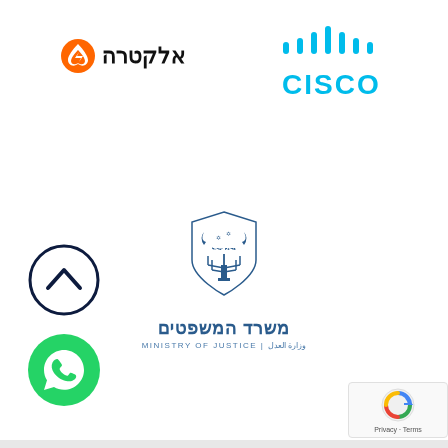[Figure (logo): Elektra company logo with orange circular icon and Hebrew text]
[Figure (logo): Cisco company logo in cyan/blue color with bar graph icon and CISCO text]
[Figure (logo): Israeli Ministry of Justice logo with menorah emblem, Hebrew text משרד המשפטים, and bilingual subtitle MINISTRY OF JUSTICE | وزارة العدل]
[Figure (other): Scroll-to-top button: dark navy circle with upward chevron arrow]
[Figure (other): WhatsApp contact button: green circle with white phone/chat icon]
[Figure (other): Google reCAPTCHA badge with Privacy and Terms text]